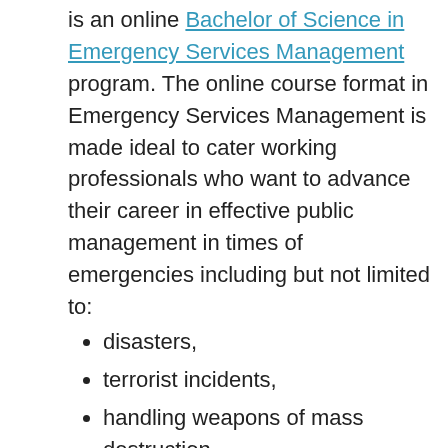is an online Bachelor of Science in Emergency Services Management program. The online course format in Emergency Services Management is made ideal to cater working professionals who want to advance their career in effective public management in times of emergencies including but not limited to:
disasters,
terrorist incidents,
handling weapons of mass destruction, and more.
For any interested individual to graduate with an Emergency Services Management degree,